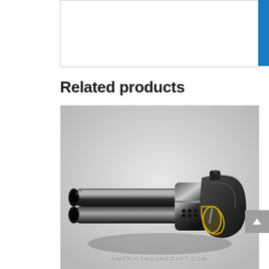Related products
[Figure (photo): A black double-barrel pistol/pepperbox-style handgun with black polymer grip and gold trigger guard, photographed on a light gray background at an angle showing the barrels pointing left. Watermark text reads AMERICANGUNCRAFT.COM at the bottom.]